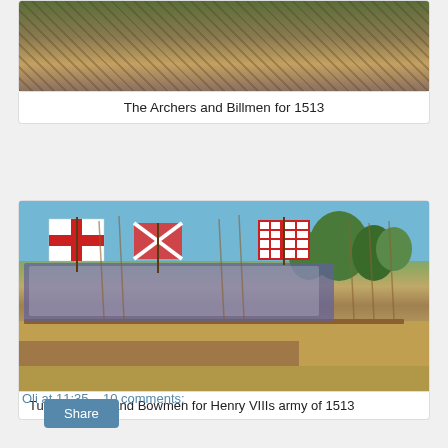[Figure (photo): Miniature wargame figures — archers and billmen on a diorama base with grass and earth terrain]
The Archers and Billmen for 1513
[Figure (photo): Tudor Billmen and Bowmen miniature wargame figures carrying St George cross flags and other banners, arrayed in a battle line on a diorama base]
Tudor Billmen and Bowmen for Henry VIIIs army of 1513
Oli at 11:35    10 comments:
Share